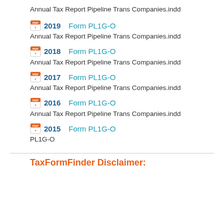Annual Tax Report Pipeline Trans Companies.indd
2019 Form PL1G-O
Annual Tax Report Pipeline Trans Companies.indd
2018 Form PL1G-O
Annual Tax Report Pipeline Trans Companies.indd
2017 Form PL1G-O
Annual Tax Report Pipeline Trans Companies.indd
2016 Form PL1G-O
Annual Tax Report Pipeline Trans Companies.indd
2015 Form PL1G-O
PL1G-O
TaxFormFinder Disclaimer: